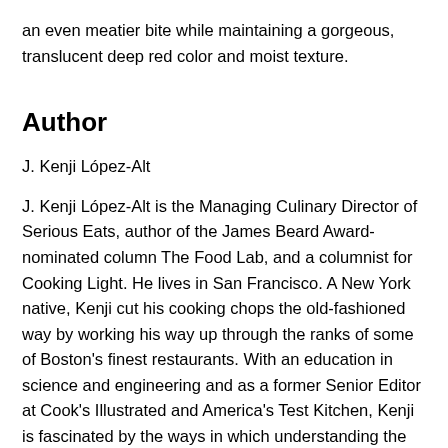an even meatier bite while maintaining a gorgeous, translucent deep red color and moist texture.
Author
J. Kenji López-Alt
J. Kenji López-Alt is the Managing Culinary Director of Serious Eats, author of the James Beard Award-nominated column The Food Lab, and a columnist for Cooking Light. He lives in San Francisco. A New York native, Kenji cut his cooking chops the old-fashioned way by working his way up through the ranks of some of Boston's finest restaurants. With an education in science and engineering and as a former Senior Editor at Cook's Illustrated and America's Test Kitchen, Kenji is fascinated by the ways in which understanding the science of every day cooking can help improve even simple foods. He earned a James Beard award for his first book, The